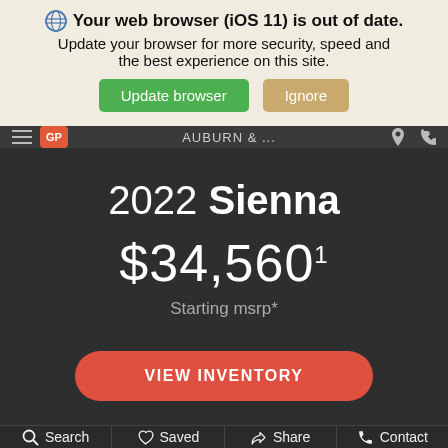Your web browser (iOS 11) is out of date. Update your browser for more security, speed and the best experience on this site.
Update browser | Ignore
AUBURN ...
2022 Sienna
$34,5601
Starting msrp*
VIEW INVENTORY
Search | Saved | Share | Contact